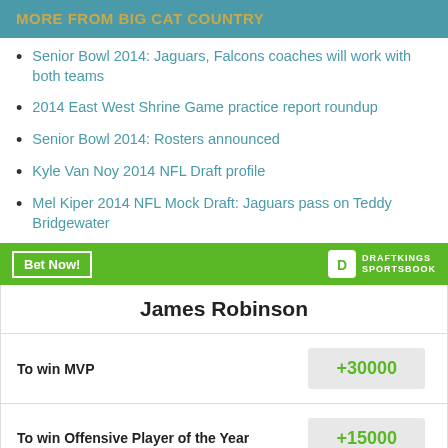MORE FROM BIG CAT COUNTRY
Senior Bowl 2014: Jaguars, Falcons coaches will work with both teams
2014 East West Shrine Game practice report roundup
Senior Bowl 2014: Rosters announced
Kyle Van Noy 2014 NFL Draft profile
Mel Kiper 2014 NFL Mock Draft: Jaguars pass on Teddy Bridgewater
[Figure (logo): DraftKings Sportsbook Bet Now banner]
|  |  |
| --- | --- |
| James Robinson |  |
| To win MVP | +30000 |
| To win Offensive Player of the Year | +15000 |